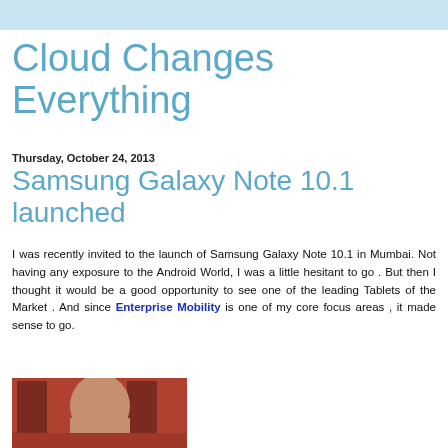Cloud Changes Everything
Thursday, October 24, 2013
Samsung Galaxy Note 10.1 launched
I was recently invited to the launch of Samsung Galaxy Note 10.1 in Mumbai. Not having any exposure to the Android World, I was a little hesitant to go . But then I thought it would be a good opportunity to see one of the leading Tablets of the Market . And since Enterprise Mobility is one of my core focus areas , it made sense to go.
[Figure (photo): A person's head and upper body, partially visible, appears to be at an indoor event with red background elements.]